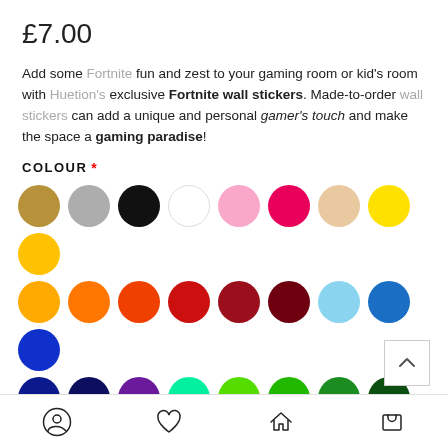£7.00
Add some Fortnite fun and zest to your gaming room or kid's room with Huetion's exclusive Fortnite wall stickers. Made-to-order wall stickers can add a unique and personal gamer's touch and make the space a gaming paradise!
COLOUR *
[Figure (other): Grid of 33 colour swatches (circles) for colour selection: gold/dark yellow, light grey, black, white, light pink, hot pink/magenta, beige/skin, bright yellow, golden yellow, amber/dark yellow, orange, red-orange, red, dark red/crimson, dark maroon, light blue, medium blue, cobalt blue, dark navy, navy/dark blue, purple, mint/bright green, lime green, grass green, medium green, dark green, dark forest green, brown, light grey (partial), medium grey (partial), dark grey (partial)]
navigation icons: account, wishlist, home, cart